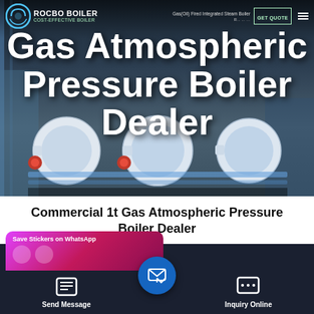[Figure (screenshot): Hero image of industrial gas atmospheric pressure boilers in a warehouse/factory setting with dark overlay, showing ROCBO BOILER logo/navigation at top and large white bold title text 'Gas Atmospheric Pressure Boiler Dealer' overlaid on the photo.]
Gas Atmospheric Pressure Boiler Dealer
Commercial 1t Gas Atmospheric Pressure Boiler Dealer
[Figure (screenshot): Bottom mobile UI bar with dark background showing: a pink/purple WhatsApp sticker-saver card on left, a 'Send Message' button with document icon on left side, a central blue circle email/send icon button, and an 'Inquiry Online' button with chat icon on right.]